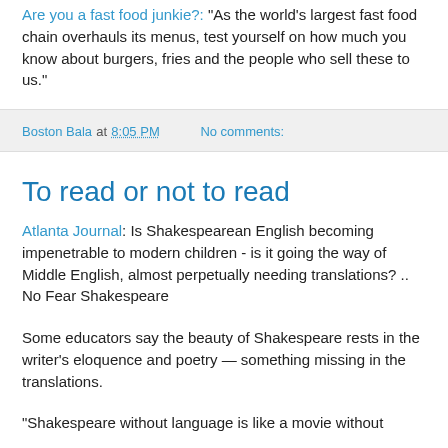Are you a fast food junkie?: "As the world's largest fast food chain overhauls its menus, test yourself on how much you know about burgers, fries and the people who sell these to us."
Boston Bala at 8:05 PM   No comments:
To read or not to read
Atlanta Journal: Is Shakespearean English becoming impenetrable to modern children - is it going the way of Middle English, almost perpetually needing translations? .. No Fear Shakespeare
Some educators say the beauty of Shakespeare rests in the writer's eloquence and poetry — something missing in the translations.
"Shakespeare without language is like a movie without